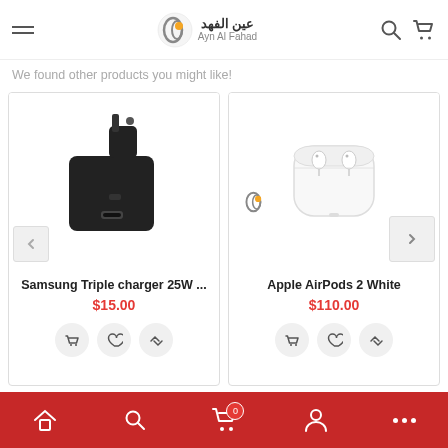Ayn Al Fahad — navigation header with menu, logo, search and cart icons
We found other products you might like!
[Figure (photo): Samsung Triple Charger 25W black UK plug adapter product image]
Samsung Triple charger 25W ...
$15.00
[Figure (photo): Apple AirPods 2 White in white case product image]
Apple AirPods 2 White
$110.00
Bottom navigation bar with home, search, cart (0), account, and more icons